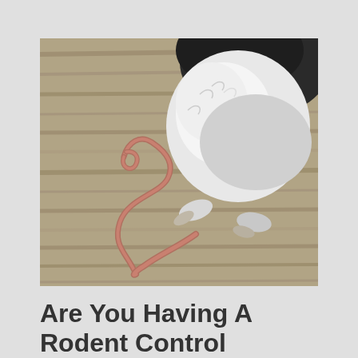[Figure (photo): Close-up photo of a rat or mouse from behind on a wooden surface, showing its white and dark fur body, hind legs, and a long curled pink/brown tail lying on weathered wood planks.]
Are You Having A Rodent Control Problem?